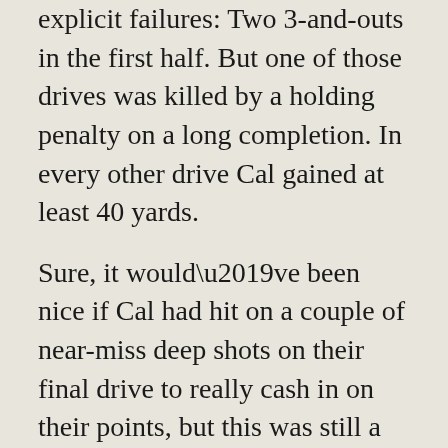explicit failures: Two 3-and-outs in the first half. But one of those drives was killed by a holding penalty on a long completion. In every other drive Cal gained at least 40 yards.
Sure, it would’ve been nice if Cal had hit on a couple of near-miss deep shots on their final drive to really cash in on their points, but this was still a pretty comprehensive blowout performance over an FCS defense. If you could somehow erase the Nevada game from our collective consciousness, we would all be pretty jazzed about the offense.
Is this a downfield passing first offense now?!
Some purely descriptive, objective PFF charting stats. In 2020, Cal’s average depth of target on